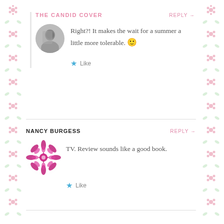THE CANDID COVER
REPLY →
Right?! It makes the wait for a summer a little more tolerable. 🙂
Like
NANCY BURGESS
REPLY →
TV. Review sounds like a good book.
Like